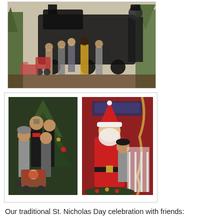[Figure (photo): Group of children posing in front of a large black train silhouette cutout backdrop, with a person dressed as a train conductor on the right side. Christmas trees visible. Children of various ages including one in a stroller.]
[Figure (photo): Two photos side by side. Left: A family group with a mother and several children posing in front of a decorated Christmas tree outdoors, with a baby in a stroller. Right: A child sitting on Santa Claus's lap in front of a red wall with Christmas decorations.]
Our traditional St. Nicholas Day celebration with friends: